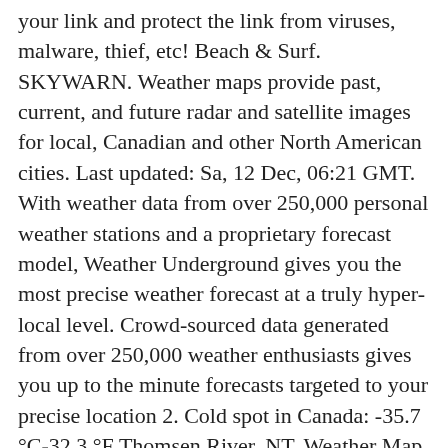your link and protect the link from viruses, malware, thief, etc! Beach & Surf. SKYWARN. Weather maps provide past, current, and future radar and satellite images for local, Canadian and other North American cities. Last updated: Sa, 12 Dec, 06:21 GMT. With weather data from over 250,000 personal weather stations and a proprietary forecast model, Weather Underground gives you the most precise weather forecast at a truly hyper-local level. Crowd-sourced data generated from over 250,000 weather enthusiasts gives you up to the minute forecasts targeted to your precise location 2. Cold spot in Canada: -35.7 °C-32.3 °F Thomsen River, NT. Weather Map Finder. Developer: Weather Underground. Control the animation using the slide bar found beneath the weather map. Discover about current conditions, interactive Nexrad radar, get customizable severe weather alerts and much more. Weather Underground: Local Weather Maps & Forecast v6.6.0 (Beta) (Premium) Climate at a microclimate level. Select the data for your needs from 30+ data types and 20 forecast models, plus radar reflectivity, sun/moon-